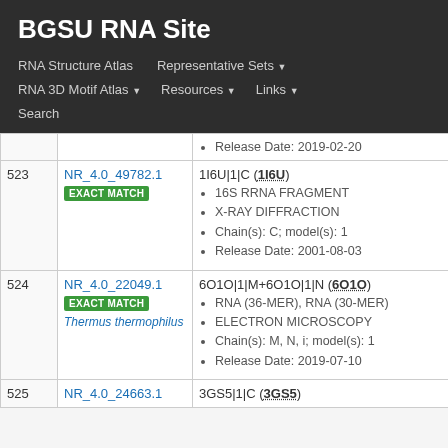BGSU RNA Site
RNA Structure Atlas | Representative Sets ▾ | RNA 3D Motif Atlas ▾ | Resources ▾ | Links ▾ | Search
| # | ID | Entry |
| --- | --- | --- |
|  |  | • Release Date: 2019-02-20 |
| 523 | NR_4.0_49782.1 EXACT MATCH | 1I6U|1|C (1I6U)
• 16S RRNA FRAGMENT
• X-RAY DIFFRACTION
• Chain(s): C; model(s): 1
• Release Date: 2001-08-03 |
| 524 | NR_4.0_22049.1 EXACT MATCH Thermus thermophilus | 6O1O|1|M+6O1O|1|N (6O1O)
• RNA (36-MER), RNA (30-MER)
• ELECTRON MICROSCOPY
• Chain(s): M, N, i; model(s): 1
• Release Date: 2019-07-10 |
| 525 | NR_4.0_24663.1 | 3GS5|1|C (3GS5) |